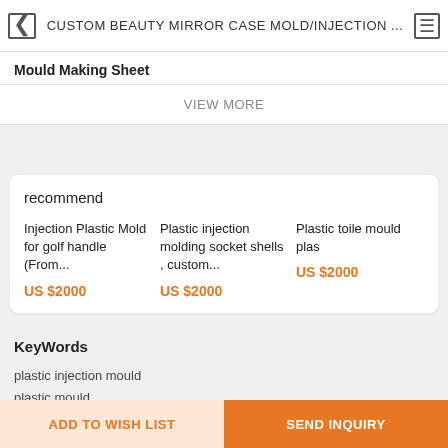CUSTOM BEAUTY MIRROR CASE MOLD/INJECTION ...
Mould Making Sheet
VIEW MORE
recommend
Injection Plastic Mold for golf handle (From...
US $2000
Plastic injection molding socket shells , custom...
US $2000
Plastic toile mould plas
US $2000
KeyWords
plastic injection mould
plastic mould
mold factory
ADD TO WISH LIST   SEND INQUIRY